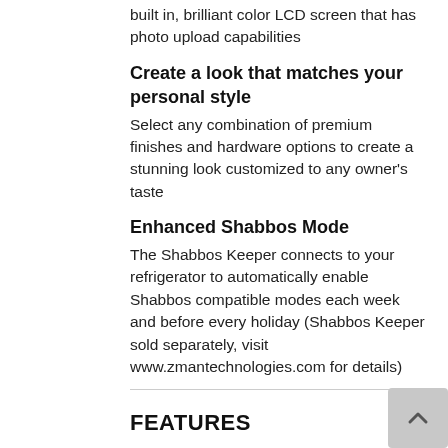built in, brilliant color LCD screen that has photo upload capabilities
Create a look that matches your personal style
Select any combination of premium finishes and hardware options to create a stunning look customized to any owner's taste
Enhanced Shabbos Mode
The Shabbos Keeper connects to your refrigerator to automatically enable Shabbos compatible modes each week and before every holiday (Shabbos Keeper sold separately, visit www.zmantechnologies.com for details)
FEATURES
Cozy up with a hot cup of tea anytime
You're always in control, wherever you are
Your kitchen's sightlines will thank you